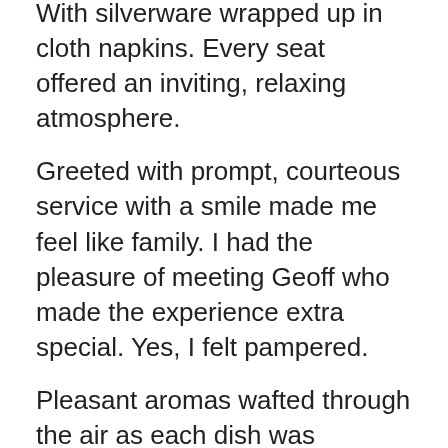With silverware wrapped up in cloth napkins. Every seat offered an inviting, relaxing atmosphere.
Greeted with prompt, courteous service with a smile made me feel like family. I had the pleasure of meeting Geoff who made the experience extra special. Yes, I felt pampered.
Pleasant aromas wafted through the air as each dish was delivered to every guest. My hunger was stirring as I awaited my delicious dish.
While you wait for your food to arrive, enjoy wine, a cocktail, a mocktail, or craft beer. There are several varieties.